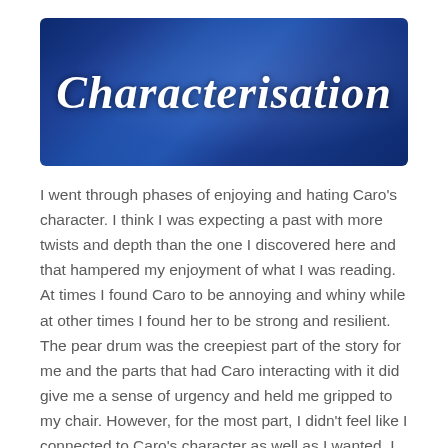[Figure (illustration): Dark blue starry sky banner with cursive white text reading 'Characterisation']
I went through phases of enjoying and hating Caro's character. I think I was expecting a past with more twists and depth than the one I discovered here and that hampered my enjoyment of what I was reading. At times I found Caro to be annoying and whiny while at other times I found her to be strong and resilient. The pear drum was the creepiest part of the story for me and the parts that had Caro interacting with it did give me a sense of urgency and held me gripped to my chair. However, for the most part, I didn't feel like I connected to Caro's character as well as I wanted. I felt that I had a block when reading her and that I